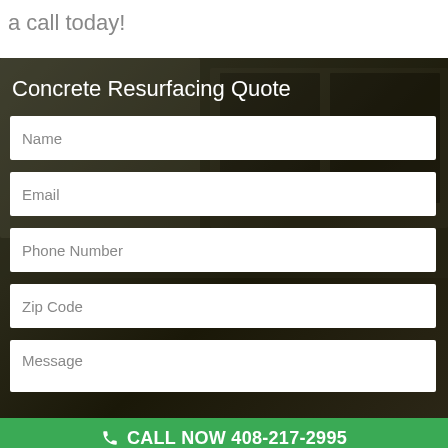a call today!
[Figure (screenshot): Contact form section with dark background showing a concrete resurfacing quote form with fields for Name, Email, Phone Number, Zip Code, and Message]
Concrete Resurfacing Quote
Name
Email
Phone Number
Zip Code
Message
CALL NOW 408-217-2995